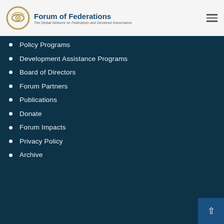Our site
[Figure (logo): Forum of Federations logo with circular emblem and text 'Forum of Federations - The Global Network on Federalism and Devolved Governance']
Policy Programs
Development Assistance Programs
Board of Directors
Forum Partners
Publications
Donate
Forum Impacts
Privacy Policy
Archive